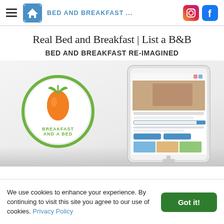BED AND BREAKFAST ...
Real Bed and Breakfast | List a B&B
BED AND BREAKFAST RE-IMAGINED
[Figure (screenshot): Screenshot of a tablet device showing the Real Bed and Breakfast website, alongside a circular logo showing an orange carrot icon with text 'BREAKFAST AND A BED' in green]
We use cookies to enhance your experience. By continuing to visit this site you agree to our use of cookies. Privacy Policy